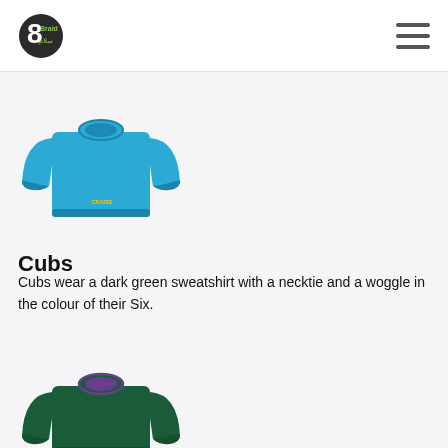8Braid logo and navigation
[Figure (photo): Blue children's sweatshirt with yellow logo text on lower front, long sleeves, crew neck]
Cubs
Cubs wear a dark green sweatshirt with a necktie and a woggle in the colour of their Six.
[Figure (photo): Dark green children's sweatshirt with purple collar trim, long sleeves, crew neck]